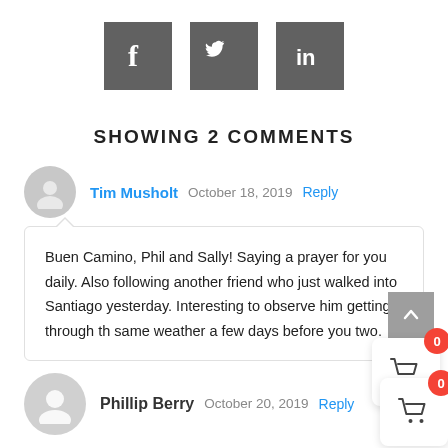[Figure (logo): Social media icons: Facebook, Twitter, LinkedIn in dark grey square buttons]
SHOWING 2 COMMENTS
Tim Musholt   October 18, 2019   Reply
Buen Camino, Phil and Sally! Saying a prayer for you daily. Also following another friend who just walked into Santiago yesterday. Interesting to observe him getting through the same weather a few days before you two.
Phillip Berry   October 20, 2019   Reply